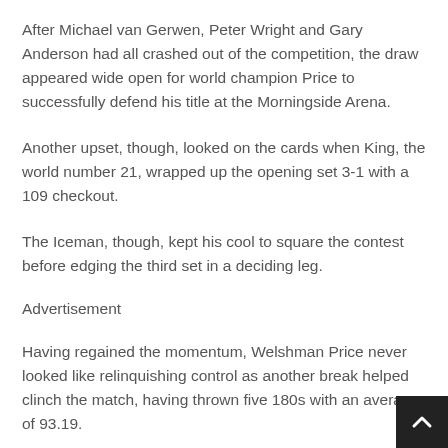After Michael van Gerwen, Peter Wright and Gary Anderson had all crashed out of the competition, the draw appeared wide open for world champion Price to successfully defend his title at the Morningside Arena.
Another upset, though, looked on the cards when King, the world number 21, wrapped up the opening set 3-1 with a 109 checkout.
The Iceman, though, kept his cool to square the contest before edging the third set in a deciding leg.
Advertisement
Having regained the momentum, Welshman Price never looked like relinquishing control as another break helped clinch the match, having thrown five 180s with an average of 93.19.
“When I lost the (first) set, I was beating myself up,” Price said on Sky Sports.